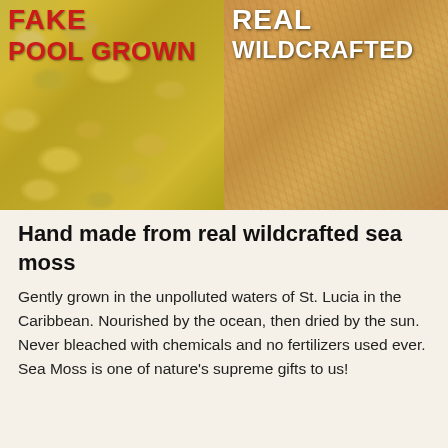[Figure (photo): Side-by-side comparison photos: left shows 'FAKE POOL GROWN' sea moss (yellowish-green flat chunks), right shows 'REAL WILDCRAFTED' sea moss (golden-tan stringy natural sea moss)]
Hand made from real wildcrafted sea moss
Gently grown in the unpolluted waters of St. Lucia in the Caribbean. Nourished by the ocean, then dried by the sun. Never bleached with chemicals and no fertilizers used ever. Sea Moss is one of nature's supreme gifts to us!